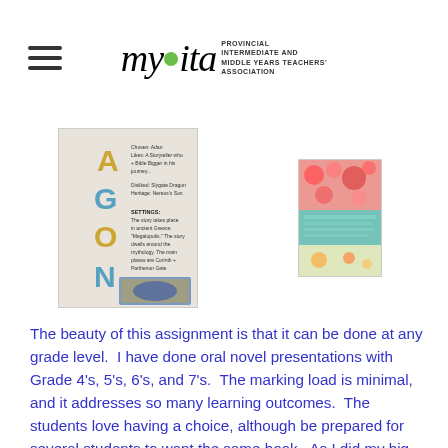mypita - Provincial Intermediate and Middle Years Teachers' Association
[Figure (photo): Student-made book poster for 'AGON' with large gold letters spelling AGON vertically and handwritten text describing plot, characters, and settings]
[Figure (photo): Colorful collage-style book project image with floral patterns and handwritten notes]
The beauty of this assignment is that it can be done at any grade level.  I have done oral novel presentations with Grade 4's, 5's, 6's, and 7's.  The marking load is minimal, and it addresses so many learning outcomes.  The students love having a choice, although be prepared for several students to want the same book.  As I did my big book talk, I had them write down all the books that interested them.  After talking about every book, I then went back to the beginning and asked who wanted each book.  If there was a 'hot' book, I left